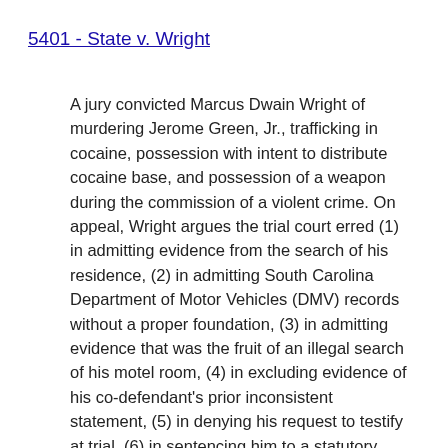5401 - State v. Wright
A jury convicted Marcus Dwain Wright of murdering Jerome Green, Jr., trafficking in cocaine, possession with intent to distribute cocaine base, and possession of a weapon during the commission of a violent crime. On appeal, Wright argues the trial court erred (1) in admitting evidence from the search of his residence, (2) in admitting South Carolina Department of Motor Vehicles (DMV) records without a proper foundation, (3) in admitting evidence that was the fruit of an illegal search of his motel room, (4) in excluding evidence of his co-defendant's prior inconsistent statement, (5) in denying his request to testify at trial, (6) in sentencing him to a statutory